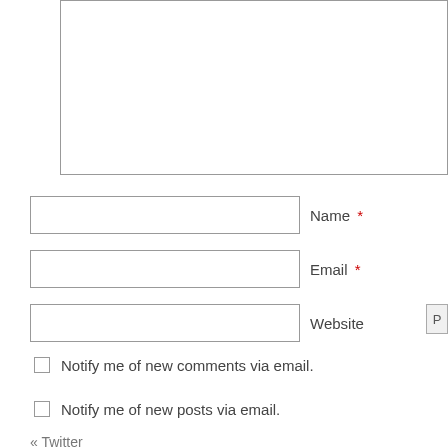[Figure (other): Comment textarea input box (partially visible, top cut off)]
Name *
Email *
Website
Notify me of new comments via email.
Notify me of new posts via email.
« Twitter